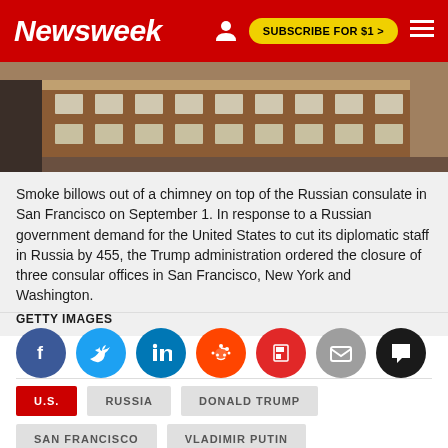Newsweek | SUBSCRIBE FOR $1 >
[Figure (photo): Exterior of a brick building (Russian consulate in San Francisco), showing facade with windows]
Smoke billows out of a chimney on top of the Russian consulate in San Francisco on September 1. In response to a Russian government demand for the United States to cut its diplomatic staff in Russia by 455, the Trump administration ordered the closure of three consular offices in San Francisco, New York and Washington.
GETTY IMAGES
[Figure (infographic): Social media share icons: Facebook, Twitter, LinkedIn, Reddit, Flipboard, Email, Comment]
U.S. | RUSSIA | DONALD TRUMP | SAN FRANCISCO | VLADIMIR PUTIN